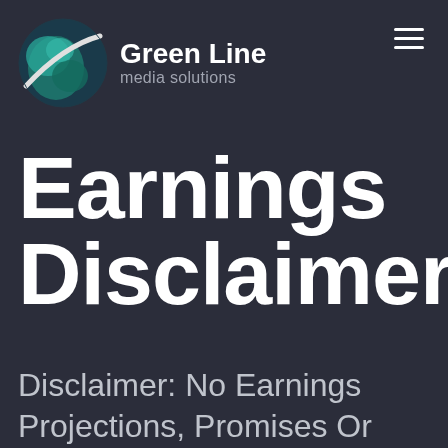[Figure (logo): Green Line Media Solutions logo — globe icon with teal/green hues and a diagonal swoosh line, with company name text to the right]
Earnings Disclaimer
Disclaimer: No Earnings Projections, Promises Or